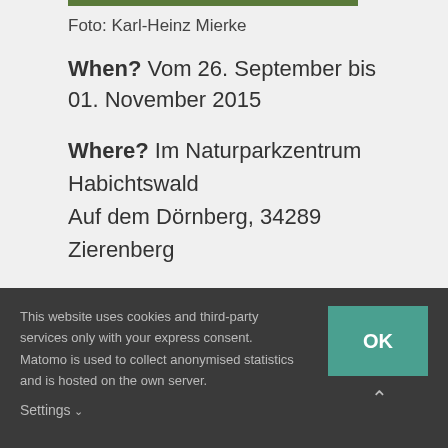[Figure (photo): Partial green photo strip at the top of the page]
Foto: Karl-Heinz Mierke
When? Vom 26. September bis 01. November 2015
Where? Im Naturparkzentrum Habichtswald Auf dem Dörnberg, 34289 Zierenberg
For the exhibition “Helping Stones?” The Marburg artist Gerda Waha has resumed and expanded an old project “On the Disappearance of Childhood”.
This website uses cookies and third-party services only with your express consent. Matomo is used to collect anonymised statistics and is hosted on the own server. Settings